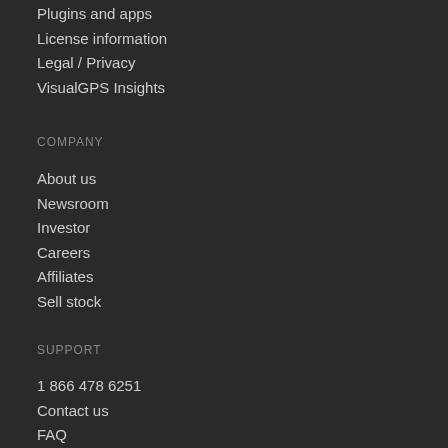Plugins and apps
License information
Legal / Privacy
VisualGPS Insights
COMPANY
About us
Newsroom
Investor
Careers
Affiliates
Sell stock
SUPPORT
1 866 478 6251
Contact us
FAQ